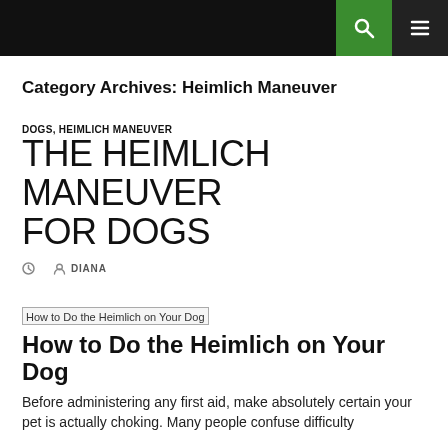Category Archives: Heimlich Maneuver
DOGS, HEIMLICH MANEUVER
THE HEIMLICH MANEUVER FOR DOGS
DIANA
[Figure (illustration): Placeholder image for 'How to Do the Heimlich on Your Dog']
How to Do the Heimlich on Your Dog
Before administering any first aid, make absolutely certain your pet is actually choking. Many people confuse difficulty